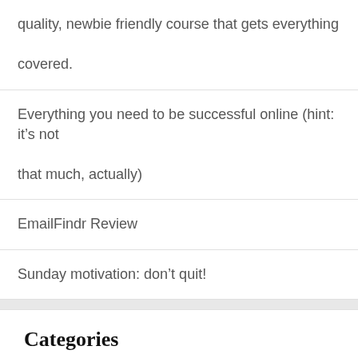quality, newbie friendly course that gets everything covered.
Everything you need to be successful online (hint: it’s not that much, actually)
EmailFindr Review
Sunday motivation: don’t quit!
Categories
Goals
Google Adsense